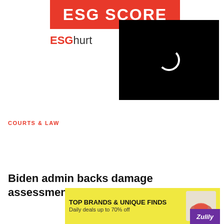[Figure (logo): ESG SCORE red banner logo with white bold text]
ESGhurt
[Figure (screenshot): Black video overlay panel with loading spinner and close X button]
COURTS & LAW
Biden admin backs damage assessment on Trump docs, b
[Figure (infographic): Zulily advertisement banner: TOP BRANDS & UNIQUE FINDS, Daily deals up to 70% off]